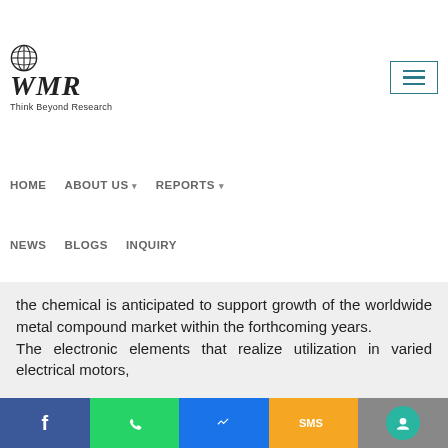[Figure (logo): WMR (Worldwide Market Reports) logo with globe icon and tagline 'Think Beyond Research']
HOME   ABOUT US ▾   REPORTS ▾
NEWS   BLOGS   INQUIRY
the chemical is anticipated to support growth of the worldwide metal compound market within the forthcoming years. The electronic elements that realize utilization in varied electrical motors,
f  [WhatsApp icon]  [Messenger icon]  SMS  [Chat icon]